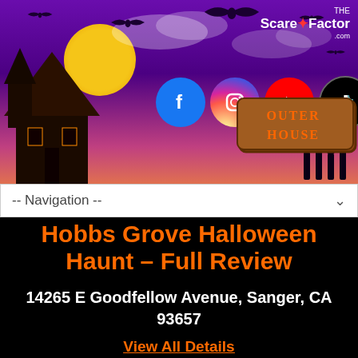[Figure (illustration): Website header banner for The Scare Factor showing a haunted house scene with purple/pink sky, yellow moon, bats, social media icons (Facebook, Instagram, YouTube, TikTok, Twitter), a wooden haunted house sign, and The Scare Factor logo in the top right corner.]
-- Navigation --
Hobbs Grove Halloween Haunt – Full Review
14265 E Goodfellow Avenue, Sanger, CA 93657
View All Details